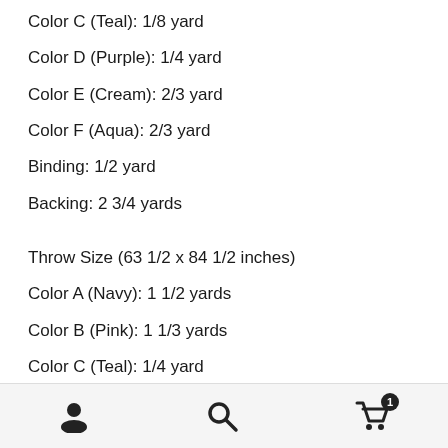Color C (Teal): 1/8 yard
Color D (Purple): 1/4 yard
Color E (Cream): 2/3 yard
Color F (Aqua): 2/3 yard
Binding: 1/2 yard
Backing: 2 3/4 yards
Throw Size (63 1/2 x 84 1/2 inches)
Color A (Navy): 1 1/2 yards
Color B (Pink): 1 1/3 yards
Color C (Teal): 1/4 yard
Color D (Purple): 2/3 yard
Color E (Cream): 1 1/3 yards
Color F (Aqua): 1 1/3 yards
Binding: 2/3 yard